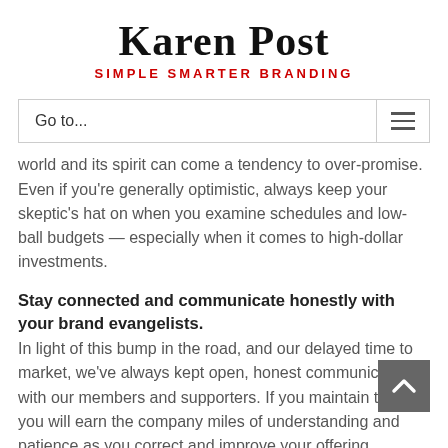Karen Post
SIMPLE SMARTER BRANDING
Go to...
world and its spirit can come a tendency to over-promise. Even if you’re generally optimistic, always keep your skeptic’s hat on when you examine schedules and low-ball budgets — especially when it comes to high-dollar investments.
Stay connected and communicate honestly with your brand evangelists.
In light of this bump in the road, and our delayed time to market, we’ve always kept open, honest communication with our members and supporters. If you maintain this, you will earn the company miles of understanding and patience as you correct and improve your offering.
Was there a silver lining in this misstep IT vendor experience? Well I don’t know that I’d go that far, maybe a tin